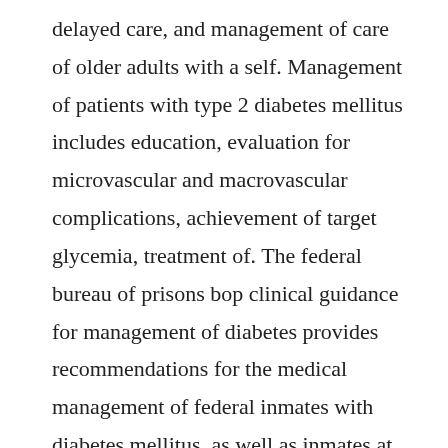delayed care, and management of care of older adults with a self. Management of patients with type 2 diabetes mellitus includes education, evaluation for microvascular and macrovascular complications, achievement of target glycemia, treatment of. The federal bureau of prisons bop clinical guidance for management of diabetes provides recommendations for the medical management of federal inmates with diabetes mellitus, as well as inmates at risk for developing diabetes. In 2017, the management